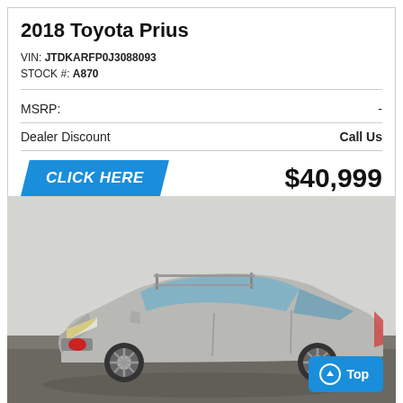2018 Toyota Prius
VIN: JTDKARFP0J3088093
STOCK #: A870
| MSRP: | - |
| Dealer Discount | Call Us |
CLICK HERE   $40,999
[Figure (photo): Silver Toyota RAV4 SUV, front three-quarter view, photographed in a dealership setting with gray background and concrete floor.]